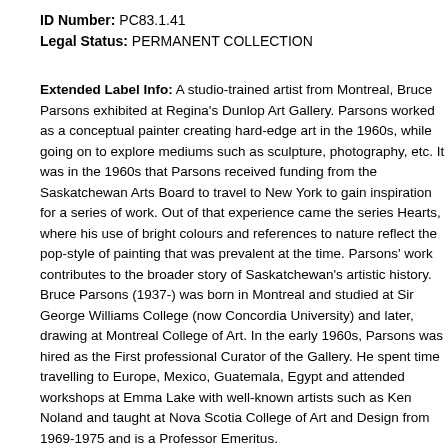ID Number: PC83.1.41
Legal Status: PERMANENT COLLECTION
Extended Label Info: A studio-trained artist from Montreal, Bruce Parsons exhibited at Regina's Dunlop Art Gallery. Parsons worked as a conceptual painter creating hard-edge art in the 1960s, while going on to explore mediums such as sculpture, photography, etc. It was in the 1960s that Parsons received funding from the Saskatchewan Arts Board to travel to New York to gain inspiration for a series of work. Out of that experience came the series Hearts, where his use of bright colours and references to nature reflect the pop-style of painting that was prevalent at the time. Parsons' work contributes to the broader story of Saskatchewan's artistic history. Bruce Parsons (1937-) was born in Montreal and studied at Sir George Williams College (now Concordia University) and later, drawing at Montreal College of Art. In the early 1960s, Parsons was hired as the First professional Curator of the Gallery. He spent time travelling to Europe, Mexico, Guatemala, Egypt and attended workshops at Emma Lake with well-known artists such as Ken Noland and taught at Nova Scotia College of Art and Design from 1969-1975 and is a Professor Emeritus.